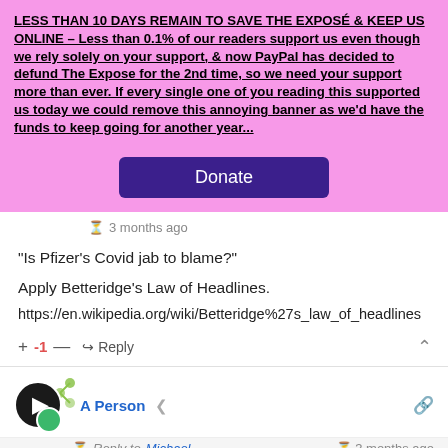LESS THAN 10 DAYS REMAIN TO SAVE THE EXPOSÉ & KEEP US ONLINE – Less than 0.1% of our readers support us even though we rely solely on your support, & now PayPal has decided to defund The Expose for the 2nd time, so we need your support more than ever. If every single one of you reading this supported us today we could remove this annoying banner as we'd have the funds to keep going for another year...
[Figure (other): Donate button (purple rectangle with white text 'Donate')]
3 months ago
“Is Pfizer’s Covid jab to blame?”
Apply Betteridge's Law of Headlines.
https://en.wikipedia.org/wiki/Betteridge%27s_law_of_headlines
+ -1 — ↪ Reply
[Figure (other): User avatar with play button icon and green circle overlay, alongside dots/network icon]
A Person
Reply to Michael   3 months ago
Must be the fault of Moderna's Covid jab then...